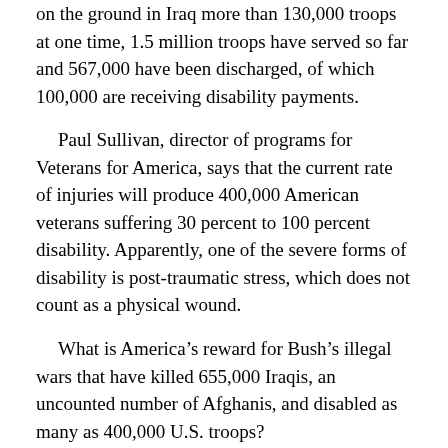on the ground in Iraq more than 130,000 troops at one time, 1.5 million troops have served so far and 567,000 have been discharged, of which 100,000 are receiving disability payments.
Paul Sullivan, director of programs for Veterans for America, says that the current rate of injuries will produce 400,000 American veterans suffering 30 percent to 100 percent disability. Apparently, one of the severe forms of disability is post-traumatic stress, which does not count as a physical wound.
What is America's reward for Bush's illegal wars that have killed 655,000 Iraqis, an uncounted number of Afghanis, and disabled as many as 400,000 U.S. troops?
According to the U.S. National Intelligence Estimate and to practically every Middle East expert, Bush's invasions have radicalized the Muslim Middle East, created legions of recruits for extremists, undermined America's puppet rulers, imperiled Israel, and destroyed America's reputation.
We are talking about more than one million casualties that have no other cause than blatant lies by Bush, Cheney, Rumsfeld, Rice, the bloodthirsty neoconservative cabal that occupies Bush's subcabinet, and their corporate media propagandists, especially The Weekly Standard, Fox News, National